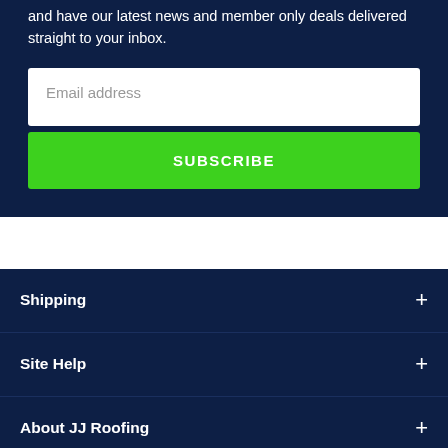and have our latest news and member only deals delivered straight to your inbox.
[Figure (screenshot): Email address input field with white background and placeholder text 'Email address']
[Figure (screenshot): Green SUBSCRIBE button]
Shipping
Site Help
About JJ Roofing
JJ Roofing Family